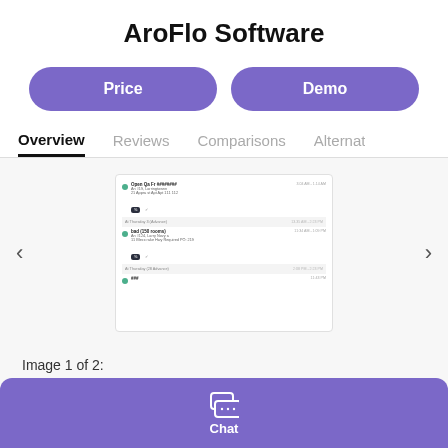AroFlo Software
Price
Demo
Overview
Reviews
Comparisons
Alternat
[Figure (screenshot): AroFlo mobile app screenshot showing a job list with entries, green status dots, timestamps, and dark action buttons]
Image 1 of 2:
AroFlo mobile app
Chat